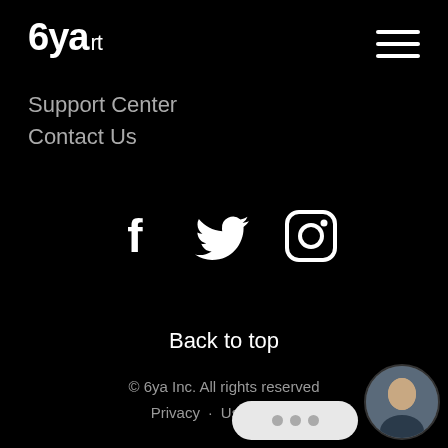6ya Support
[Figure (other): Hamburger menu icon (three horizontal white lines) in top right corner]
Support Center
Contact Us
[Figure (other): Social media icons: Facebook (f), Twitter (bird), Instagram (camera) in white on black background]
Back to top
© 6ya Inc. All rights reserved
Privacy · User Terms
[Figure (other): Chat widget with speech bubble showing three dots and a circular avatar photo of a man]